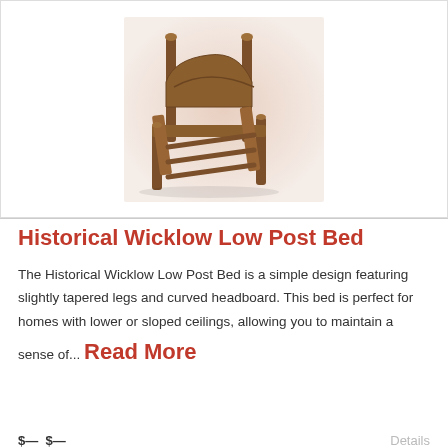[Figure (photo): A wooden low post bed with slightly tapered legs and curved headboard, shown in a three-quarter view against a light pinkish-beige background.]
Historical Wicklow Low Post Bed
The Historical Wicklow Low Post Bed is a simple design featuring slightly tapered legs and curved headboard. This bed is perfect for homes with lower or sloped ceilings, allowing you to maintain a sense of… Read More
$... $...   Details